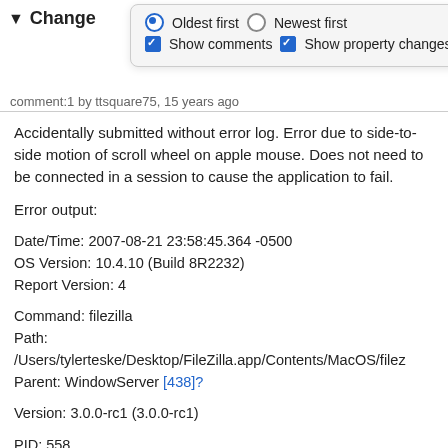▼ Change
[Figure (screenshot): Dropdown popup showing sort/filter options: 'Oldest first' (selected radio), 'Newest first' (unselected radio), 'Show comments' (checked checkbox), 'Show property changes' (checked checkbox)]
comment:1 by ttsquare75, 15 years ago
Accidentally submitted without error log. Error due to side-to-side motion of scroll wheel on apple mouse. Does not need to be connected in a session to cause the application to fail.
Error output:
Date/Time: 2007-08-21 23:58:45.364 -0500
OS Version: 10.4.10 (Build 8R2232)
Report Version: 4
Command: filezilla
Path:
/Users/tylerteske/Desktop/FileZilla.app/Contents/MacOS/filez
Parent: WindowServer [438]?
Version: 3.0.0-rc1 (3.0.0-rc1)
PID: 558